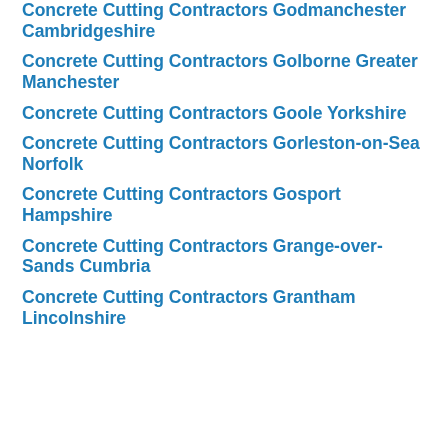Concrete Cutting Contractors Godmanchester Cambridgeshire
Concrete Cutting Contractors Golborne Greater Manchester
Concrete Cutting Contractors Goole Yorkshire
Concrete Cutting Contractors Gorleston-on-Sea Norfolk
Concrete Cutting Contractors Gosport Hampshire
Concrete Cutting Contractors Grange-over-Sands Cumbria
Concrete Cutting Contractors Grantham Lincolnshire